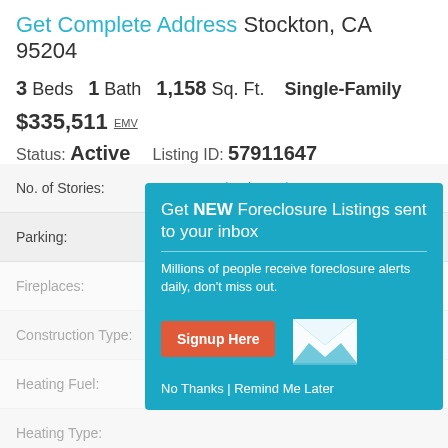Get Complete Address Stockton, CA 95204
3 Beds   1 Bath   1,158 Sq. Ft.   Single-Family
$335,511 EMV
Status: Active   Listing ID: 57911647
| Property Field | Value |
| --- | --- |
| No. of Stories: | Sign in to view |
| Parking: | Sign in to view |
| Fireplaces: |  |
| Construction Type: |  |
| Heating Fuel: |  |
| Heating Type: |  |
| Land Area Sqft: |  |
| Year Built: |  |
| APN: |  |
| Property Type: | Sign in to view |
| Living Sqft: | Sign in to view |
[Figure (infographic): Modal popup: Get NEW Foreclosure Listings sent to your inbox. Millions of people receive foreclosure alerts daily, don't miss out. Signup Here button. No Thanks | Remind Me Later links. White envelope icon on teal background.]